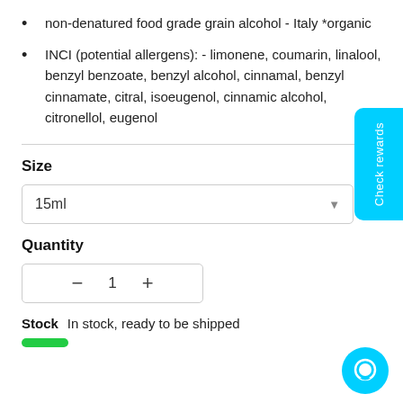non-denatured food grade grain alcohol - Italy *organic
INCI (potential allergens): - limonene, coumarin, linalool, benzyl benzoate, benzyl alcohol, cinnamal, benzyl cinnamate, citral, isoeugenol, cinnamic alcohol, citronellol, eugenol
Size
15ml
Quantity
— 1 +
Stock  In stock, ready to be shipped